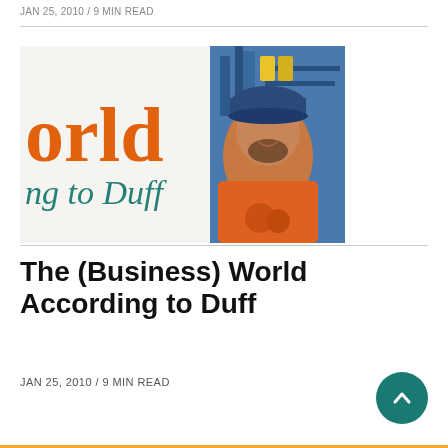JAN 25, 2010 / 9 MIN READ
[Figure (photo): Article thumbnail showing partial text 'orld' in orange serif font and 'ng to Duff' in teal italic, overlaid with a photo of a smiling man in an orange shirt and blue cap in an industrial setting.]
The (Business) World According to Duff
JAN 25, 2010 / 9 MIN READ